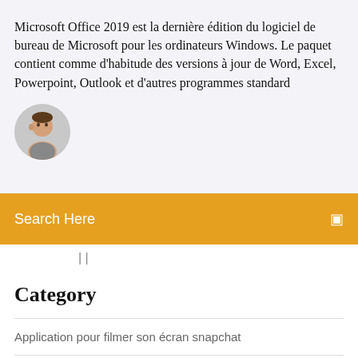Microsoft Office 2019 est la dernière édition du logiciel de bureau de Microsoft pour les ordinateurs Windows. Le paquet contient comme d'habitude des versions à jour de Word, Excel, Powerpoint, Outlook et d'autres programmes standard
[Figure (photo): Avatar photo of a person (man), partially visible, circular crop on left side]
Search Here
Category
Application pour filmer son écran snapchat
Site pour voir des films indiens